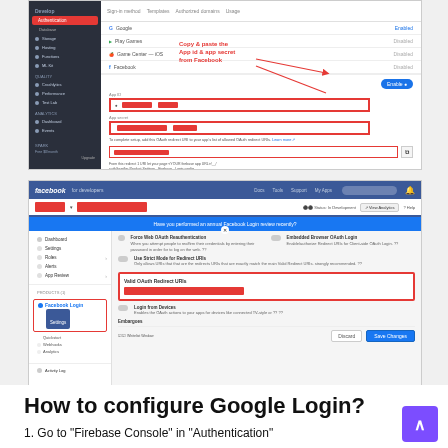[Figure (screenshot): Firebase Authentication console screenshot showing Facebook sign-in provider settings with Copy & paste annotation pointing to App ID and App secret fields highlighted in red. A toggle is enabled and there are form fields for App ID and App Secret with a redirect URI field below.]
[Figure (screenshot): Facebook for Developers console screenshot showing Facebook Login Settings page with Valid OAuth Redirect URIs section highlighted in red border. The settings panel shows options for Force Web OAuth Reauthentication, Embedded Browser OAuth Login, Use Strict Mode for Redirect URIs, and Login from Devices. A Save Changes button is visible at bottom right.]
How to configure Google Login?
1. Go to "Firebase Console" in "Authentication"